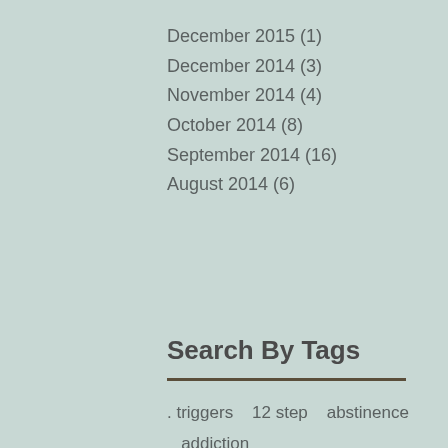December 2015 (1)
December 2014 (3)
November 2014 (4)
October 2014 (8)
September 2014 (16)
August 2014 (6)
Search By Tags
. triggers   12 step   abstinence   addiction
adolescents   adrenalin   adulthood   affection